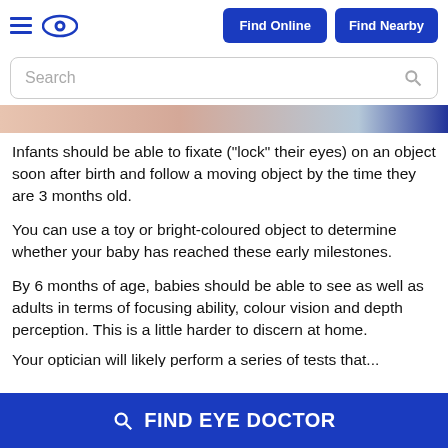Find Online | Find Nearby
Search
[Figure (photo): Partial image of a baby or infant, showing skin tones and a blue element at the right edge]
Infants should be able to fixate ("lock" their eyes) on an object soon after birth and follow a moving object by the time they are 3 months old.
You can use a toy or bright-coloured object to determine whether your baby has reached these early milestones.
By 6 months of age, babies should be able to see as well as adults in terms of focusing ability, colour vision and depth perception. This is a little harder to discern at home.
Your optician will likely perform a series of tests that...
FIND EYE DOCTOR